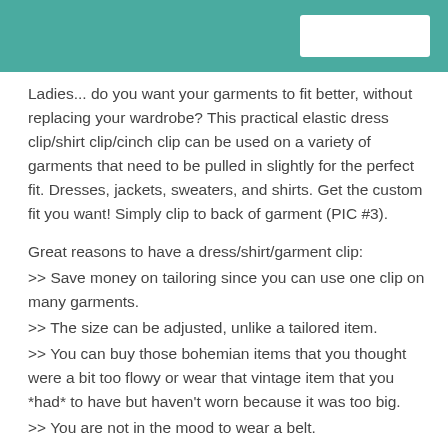Ladies... do you want your garments to fit better, without replacing your wardrobe? This practical elastic dress clip/shirt clip/cinch clip can be used on a variety of garments that need to be pulled in slightly for the perfect fit. Dresses, jackets, sweaters, and shirts. Get the custom fit you want! Simply clip to back of garment (PIC #3).
Great reasons to have a dress/shirt/garment clip:
>> Save money on tailoring since you can use one clip on many garments.
>> The size can be adjusted, unlike a tailored item.
>> You can buy those bohemian items that you thought were a bit too flowy or wear that vintage item that you *had* to have but haven't worn because it was too big.
>> You are not in the mood to wear a belt.